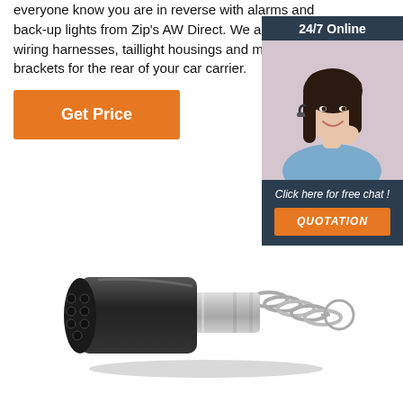everyone know you are in reverse with alarms and back-up lights from Zip's AW Direct. We also carry wiring harnesses, taillight housings and mounting brackets for the rear of your car carrier.
[Figure (other): Orange 'Get Price' button]
[Figure (other): 24/7 Online chat widget with photo of woman wearing headset and 'Click here for free chat!' text and orange QUOTATION button]
[Figure (photo): Product photo of a black and silver trailer wiring connector plug with spring and ring pull]